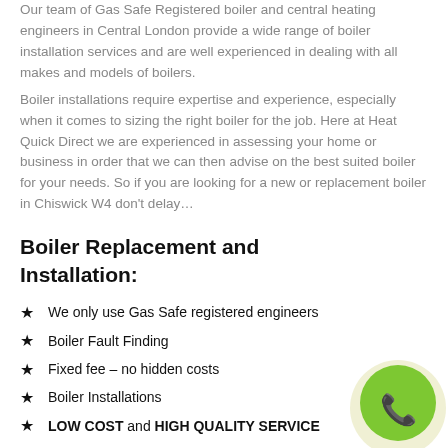Our team of Gas Safe Registered boiler and central heating engineers in Central London provide a wide range of boiler installation services and are well experienced in dealing with all makes and models of boilers.
Boiler installations require expertise and experience, especially when it comes to sizing the right boiler for the job. Here at Heat Quick Direct we are experienced in assessing your home or business in order that we can then advise on the best suited boiler for your needs. So if you are looking for a new or replacement boiler in Chiswick W4 don't delay…
Boiler Replacement and Installation:
We only use Gas Safe registered engineers
Boiler Fault Finding
Fixed fee – no hidden costs
Boiler Installations
LOW COST and HIGH QUALITY SERVICE
[Figure (illustration): Green circular phone/call button with white telephone handset icon, partially visible at bottom right corner]